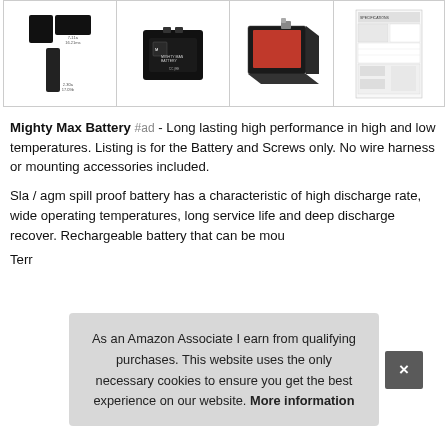[Figure (photo): Gallery of four product images: battery diagrams, Mighty Max Battery unit, 3D battery photo with red interior, and specification sheet]
Mighty Max Battery #ad - Long lasting high performance in high and low temperatures. Listing is for the Battery and Screws only. No wire harness or mounting accessories included.
Sla / agm spill proof battery has a characteristic of high discharge rate, wide operating temperatures, long service life and deep discharge recover. Rechargeable battery that can be mou
As an Amazon Associate I earn from qualifying purchases. This website uses the only necessary cookies to ensure you get the best experience on our website. More information
Terr